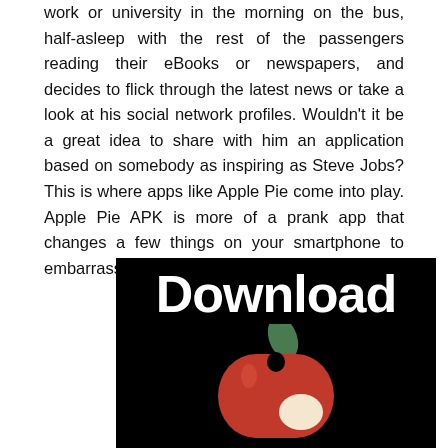work or university in the morning on the bus, half-asleep with the rest of the passengers reading their eBooks or newspapers, and decides to flick through the latest news or take a look at his social network profiles. Wouldn't it be a great idea to share with him an application based on somebody as inspiring as Steve Jobs? This is where apps like Apple Pie come into play. Apple Pie APK is more of a prank app that changes a few things on your smartphone to embarrass you if you are in a public place.
[Figure (illustration): Black background image with large white bold 'Download' text at top and a red apple icon with a green leaf at the bottom center]